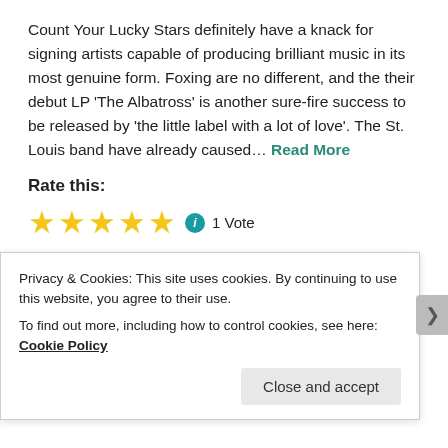Count Your Lucky Stars definitely have a knack for signing artists capable of producing brilliant music in its most genuine form. Foxing are no different, and the their debut LP 'The Albatross' is another sure-fire success to be released by 'the little label with a lot of love'. The St. Louis band have already caused… Read More
Rate this:
[Figure (other): Five gold stars rating widget with info icon and '1 Vote' text]
November 7, 2013   craigreviewsmusic   Leave a comment
Privacy & Cookies: This site uses cookies. By continuing to use this website, you agree to their use. To find out more, including how to control cookies, see here: Cookie Policy
Close and accept